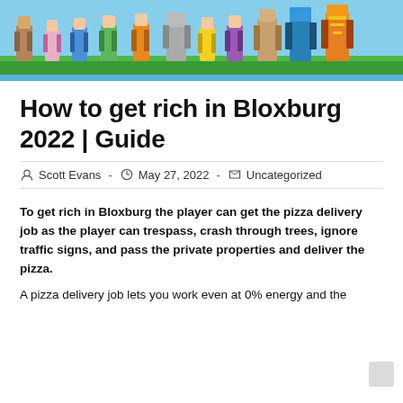[Figure (illustration): Banner image showing Roblox game characters standing on green grass with blue sky background]
How to get rich in Bloxburg 2022 | Guide
Post author: Scott Evans  ·  May 27, 2022  ·  Uncategorized
To get rich in Bloxburg the player can get the pizza delivery job as the player can trespass, crash through trees, ignore traffic signs, and pass the private properties and deliver the pizza.
A pizza delivery job lets you work even at 0% energy and the